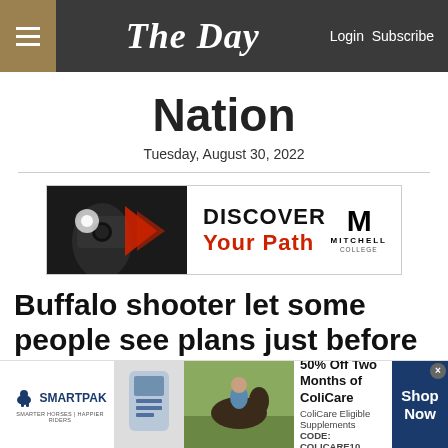The Day — Login Subscribe
Nation
Tuesday, August 30, 2022
[Figure (advertisement): Mitchell College advertisement: DISCOVER Your Path with Mitchell College logo]
Buffalo shooter let some people see plans just before attack
[Figure (advertisement): SmartPak advertisement: 50% Off Two Months of ColiCare, ColiCare Eligible Supplements, CODE: COLICARE10, Shop Now]